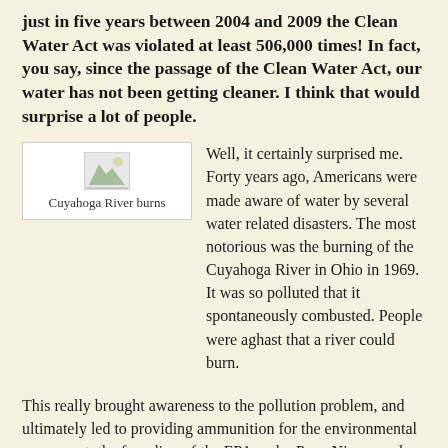just in five years between 2004 and 2009 the Clean Water Act was violated at least 506,000 times!  In fact, you say, since the passage of the Clean Water Act, our water has not been getting cleaner. I think that would surprise a lot of people.
[Figure (photo): A small image placeholder with a mountain/landscape icon, captioned 'Cuyahoga River burns']
Well, it certainly surprised me. Forty years ago, Americans were made aware of water by several water related disasters. The most notorious was the burning of the Cuyahoga River in Ohio in 1969. It was so polluted that it spontaneously combusted. People were aghast that a river could burn.
This really brought awareness to the pollution problem, and ultimately led to providing ammunition for the environmental movement, the founding of the EPA under Pres. Nixon, and the signing of the Clean Water Act and the Safe Drinking Water Act.
They were very strong laws, but they have become obsolete over time. The problem is, not only are we polluting more, but there are new kinds of pollutants now, and the old laws simply don't accommodate those.  I was shocked to find that in fact some of our waters are becoming more, not less, polluted, forty years after the